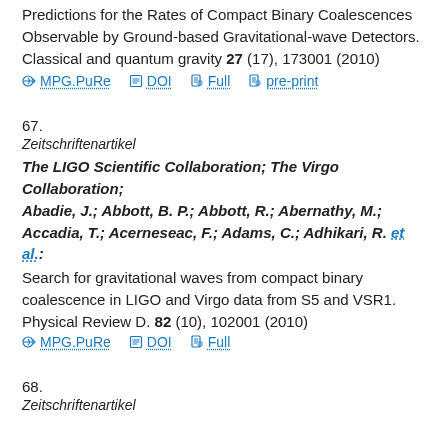Predictions for the Rates of Compact Binary Coalescences Observable by Ground-based Gravitational-wave Detectors. Classical and quantum gravity 27 (17), 173001 (2010)
MPG.PuRe   DOI   Full   pre-print
67.
Zeitschriftenartikel
The LIGO Scientific Collaboration; The Virgo Collaboration; Abadie, J.; Abbott, B. P.; Abbott, R.; Abernathy, M.; Accadia, T.; Acerneseac, F.; Adams, C.; Adhikari, R. et al.:
Search for gravitational waves from compact binary coalescence in LIGO and Virgo data from S5 and VSR1. Physical Review D. 82 (10), 102001 (2010)
MPG.PuRe   DOI   Full
68.
Zeitschriftenartikel